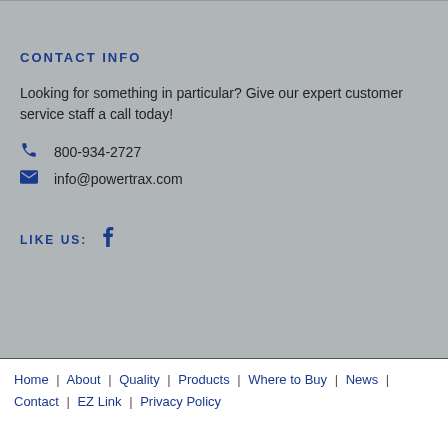CONTACT INFO
Looking for something in particular? Give our expert customer service staff a call today!
800-934-2727
info@powertrax.com
LIKE US:
Home | About | Quality | Products | Where to Buy | News | Contact | EZ Link | Privacy Policy